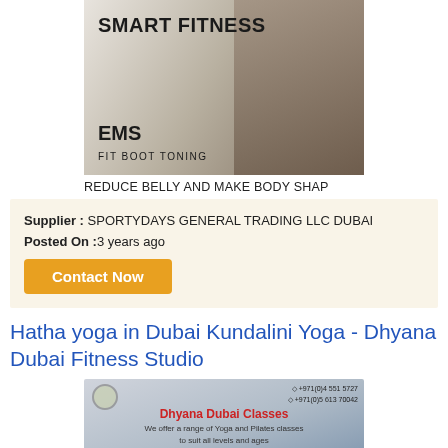[Figure (photo): Product photo of EMS Smart Fitness Fit Boot Toning device box with two people on it]
REDUCE BELLY AND MAKE BODY SHAP
Supplier : SPORTYDAYS GENERAL TRADING LLC DUBAI
Posted On :3 years ago
Contact Now
Hatha yoga in Dubai Kundalini Yoga - Dhyana Dubai Fitness Studio
[Figure (photo): Dhyana Dubai Classes advertisement image showing yoga/pilates classes with contact numbers +971(0)4 551 5727 and +971(0)5 613 70042]